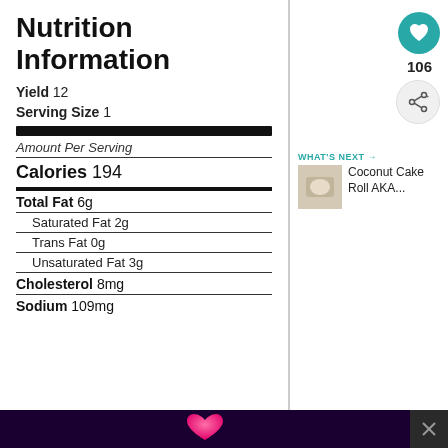Nutrition Information
Yield 12
Serving Size 1
Amount Per Serving
Calories 194
Total Fat 6g
Saturated Fat 2g
Trans Fat 0g
Unsaturated Fat 3g
Cholesterol 8mg
Sodium 109mg
106
WHAT'S NEXT → Coconut Cake Roll AKA...